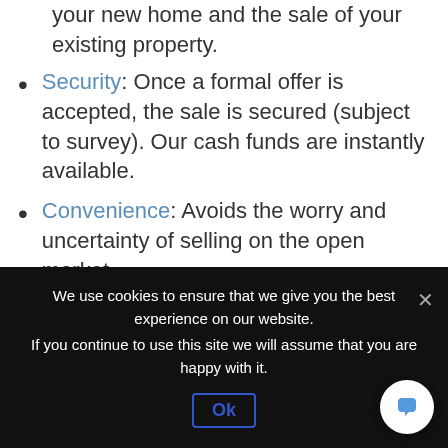your new home and the sale of your existing property.
Security: Once a formal offer is accepted, the sale is secured (subject to survey). Our cash funds are instantly available.
Convenience: Avoids the worry and uncertainty of selling on the open market.
Support: A dedicated part exchange consultant supports you through the process below.
We use cookies to ensure that we give you the best experience on our website.
If you continue to use this site we will assume that you are happy with it.
Ok